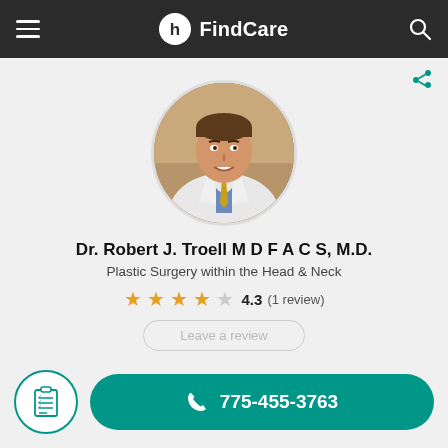FindCare
[Figure (photo): Circular profile photo of Dr. Robert J. Troell, a man in a white doctor coat with a blue shirt and gold tie, smiling]
Dr. Robert J. Troell M D F A C S, M.D.
Plastic Surgery within the Head & Neck
4.3 (1 review)
Leave a review
775-455-3763